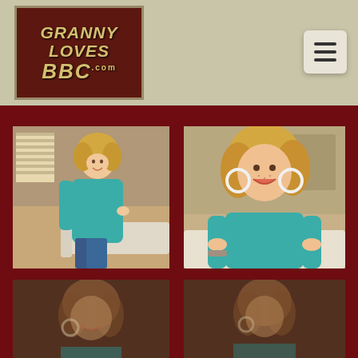[Figure (logo): GrannyLovesBBC.com website logo — dark red/brown background with gold text reading GRANNY LOVES BBC .com]
[Figure (other): Hamburger menu button (three horizontal lines) on light beige/cream rounded square button]
[Figure (photo): Photo of a smiling middle-aged woman with curly blonde hair wearing a teal/turquoise long-sleeve cardigan and dark jeans, standing in a living room setting]
[Figure (photo): Closer photo of the same smiling middle-aged woman with curly blonde hair wearing a teal/turquoise long-sleeve cardigan, showing large hoop earrings, hands on hips, living room background]
[Figure (photo): Partially visible bottom photo (cropped) of the same woman, darker/dimmer, smiling]
[Figure (photo): Partially visible bottom photo (cropped) of the same woman, darker/dimmer]